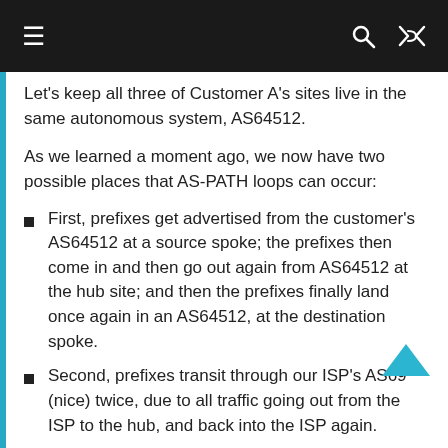≡  🔍  ⇌
Let's keep all three of Customer A's sites live in the same autonomous system, AS64512.
As we learned a moment ago, we now have two possible places that AS-PATH loops can occur:
First, prefixes get advertised from the customer's AS64512 at a source spoke; the prefixes then come in and then go out again from AS64512 at the hub site; and then the prefixes finally land once again in an AS64512, at the destination spoke.
Second, prefixes transit through our ISP's AS69 (nice) twice, due to all traffic going out from the ISP to the hub, and back into the ISP again.
And as we all learned when we were only two years old, when BGP sees loops, it ignores the prefixes.
So far we've fixed it by allowing loops on the various